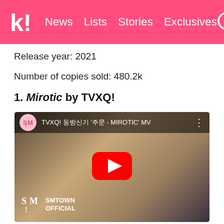k! News Lists Stories Exclusives
Release year: 2021
Number of copies sold: 480.2k
1. Mirotic by TVXQ!
[Figure (screenshot): YouTube video embed showing TVXQ! Mirotic MV with SM Entertainment channel icon, title 'TVXQ! 동방신기 '주문 - MIROTIC' MV', red YouTube play button centered, and SMTOWN OFFICIAL watermark at bottom left. Background shows a male performer.]